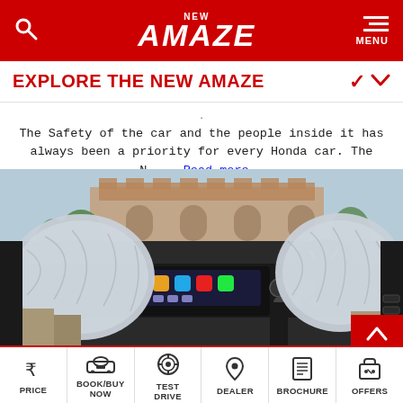NEW AMAZE
EXPLORE THE NEW AMAZE
The Safety of the car and the people inside it has always been a priority for every Honda car. The N... Read more..
[Figure (photo): Honda Amaze interior showing deployed dual airbags from the steering wheel and dashboard, with a colorful touchscreen infotainment system visible, car dashboard and instrument cluster in background]
PRICE | BOOK/BUY NOW | TEST DRIVE | DEALER | BROCHURE | OFFERS